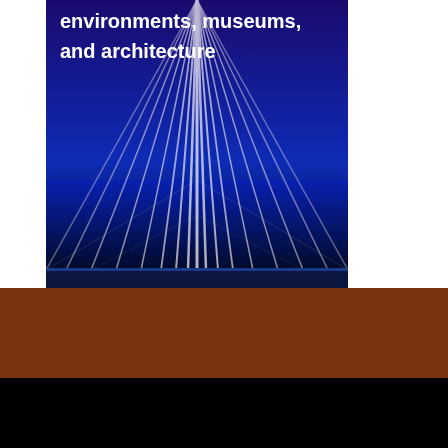[Figure (photo): Advertisement for Lightswitch. Top portion shows a dramatic blue-lit stage with beams of white light radiating across a dark floor, with white text reading 'environments, museums, and architecture'. Middle portion shows the Lightswitch logo on a dark navy background — a stylized geometric icon of blue and white triangular shapes next to the text 'LIGHTSWITCH®'. Bottom portion shows a dark banner with white text 'www.lightswitch.net'.]
environments, museums, and architecture
LIGHTSWITCH®
www.lightswitch.net